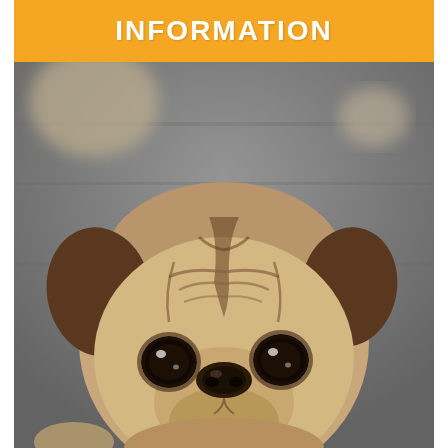INFORMATION
[Figure (photo): Close-up photograph of a pug puppy looking directly at the camera with large dark eyes, wrinkled forehead, fawn and black coloring, floppy ears, against a blurred gray background]